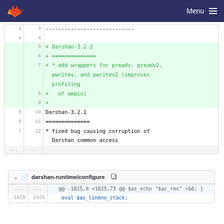GitLab — Menu
| old | new | code |
| --- | --- | --- |
| 3 | 3 | ---------------------------- |
| 4 | 4 |  |
|  | 5 | + Darshan-3.2.2 |
|  | 6 | + ============== |
|  | 7 | + * add wrappers for preadv, preadv2, pwritev, and pwritev2 (improves profiling |
|  | 8 | + of ompio) |
|  | 9 | + |
| 5 | 10 | Darshan-3.2.1 |
| 6 | 11 | ============== |
| 7 | 12 | * fixed bug causing corruption of Darshan common access |
| ... | ... | ... |
darshan-runtime/configure
| old | new | code |
| --- | --- | --- |
| ... | ... | @@ -1825,6 +1825,73 @@ $as_echo "$ac_res" >&6; } |
| 1825 | 1825 |     eval $as_lineno_stack; |